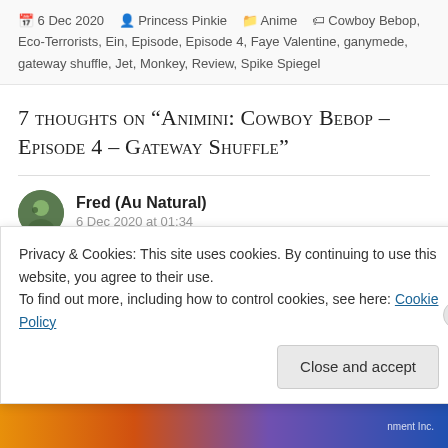6 Dec 2020  Princess Pinkie  Anime  Cowboy Bebop, Eco-Terrorists, Ein, Episode, Episode 4, Faye Valentine, ganymede, gateway shuffle, Jet, Monkey, Review, Spike Spiegel
7 thoughts on "Animini: Cowboy Bebop – Episode 4 – Gateway Shuffle"
Fred (Au Natural)
6 Dec 2020 at 01:34
Privacy & Cookies: This site uses cookies. By continuing to use this website, you agree to their use.
To find out more, including how to control cookies, see here: Cookie Policy